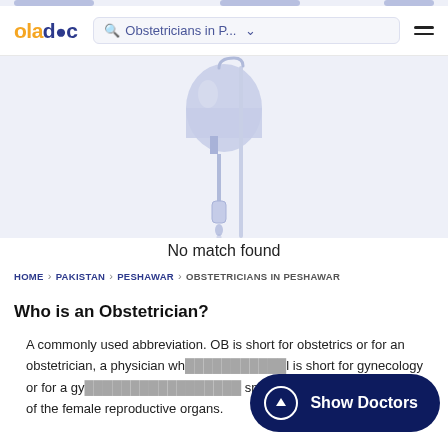oladoc — Obstetricians in P... ☰
[Figure (illustration): No match found illustration showing IV drip bag over a light blue background]
No match found
HOME > PAKISTAN > PESHAWAR > OBSTETRICIANS IN PESHAWAR
Who is an Obstetrician?
A commonly used abbreviation. OB is short for obstetrics or for an obstetrician, a physician wh... l is short for gynecology or for a gy... specializes in treating diseases of the female reproductive organs.